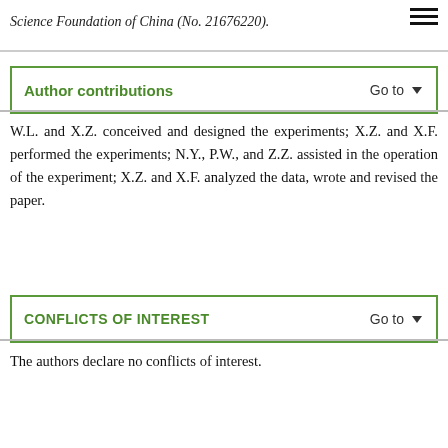Science Foundation of China (No. 21676220).
Author contributions
W.L. and X.Z. conceived and designed the experiments; X.Z. and X.F. performed the experiments; N.Y., P.W., and Z.Z. assisted in the operation of the experiment; X.Z. and X.F. analyzed the data, wrote and revised the paper.
CONFLICTS OF INTEREST
The authors declare no conflicts of interest.